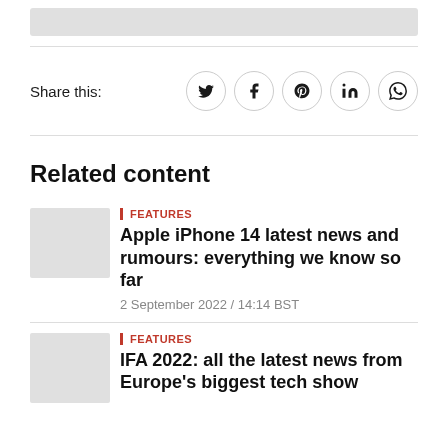Share this:
Related content
FEATURES
Apple iPhone 14 latest news and rumours: everything we know so far
2 September 2022 / 14:14 BST
FEATURES
IFA 2022: all the latest news from Europe's biggest tech show